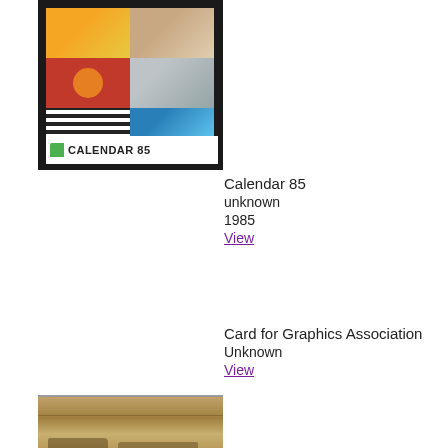[Figure (photo): Calendar 85 cover image with grid of colorful photos and calendar logo, shown against black border]
Calendar 85
unknown
1985
View
Card for Graphics Association
Unknown
View
[Figure (photo): Sepia-toned historical photograph showing a landscape scene]